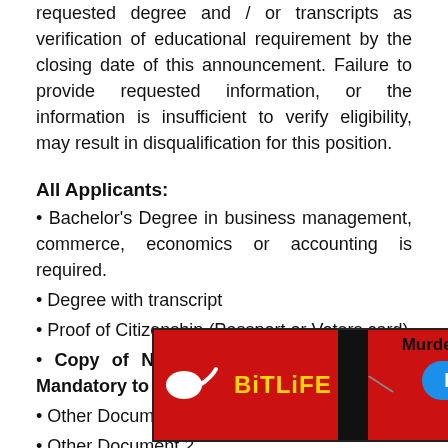requested degree and / or transcripts as verification of educational requirement by the closing date of this announcement. Failure to provide requested information, or the information is insufficient to verify eligibility, may result in disqualification for this position.
All Applicants:
• Bachelor's Degree in business management, commerce, economics or accounting is required.
• Degree with transcript
• Proof of Citizenship (Passport or Voters card)
• Copy of National Identification Card – Mandatory to attach
• Other Document
• Other Document 2
[Figure (screenshot): BitLife mobile game advertisement overlay showing red background, sperm logo, BitLife text in yellow, Murder text, Do it! button in blue]
Eligibl
• Copy of Sponsor's Orders/Assignment Notification (or